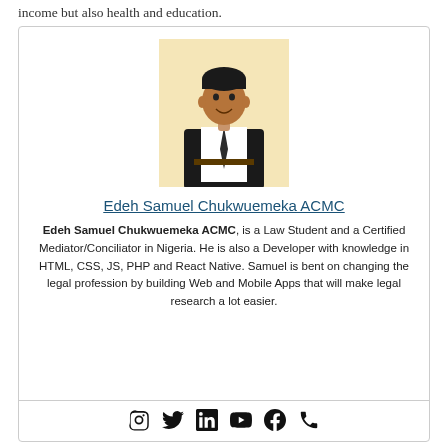income but also health and education.
[Figure (photo): Portrait photo of Edeh Samuel Chukwuemeka ACMC, a young man in a white shirt and dark tie, standing against a yellow/cream background]
Edeh Samuel Chukwuemeka ACMC
Edeh Samuel Chukwuemeka ACMC, is a Law Student and a Certified Mediator/Conciliator in Nigeria. He is also a Developer with knowledge in HTML, CSS, JS, PHP and React Native. Samuel is bent on changing the legal profession by building Web and Mobile Apps that will make legal research a lot easier.
[Figure (infographic): Social media icons row: Instagram, Twitter, LinkedIn, YouTube, Facebook, Phone]